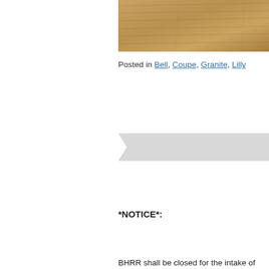[Figure (photo): Wood flooring texture image, cropped at top of page]
Posted in Bell, Coupe, Granite, Lilly
[Figure (other): Light gray ribbon/banner shape]
*NOTICE*:
BHRR shall be closed for the intake of adoption applications from October 26th to November 2nd. We do not adopt out around the Halloween season and follow similar protocol.
We do not believe it is in the best interest of the animals in our care. We remain available 24/7, as always, for requests for assistance of any kind.